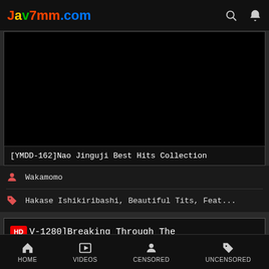Jav7mm.com
[Figure (screenshot): Black video thumbnail area]
[YMDD-162]Nao Jinguji Best Hits Collection
Wakamomo
Hakase Ishikiribashi, Beautiful Tits, Feat...
HD [V-1280]Breaking Through The Limit Orgasm Saki Okuda
HOME  VIDEOS  CENSORED  UNCENSORED